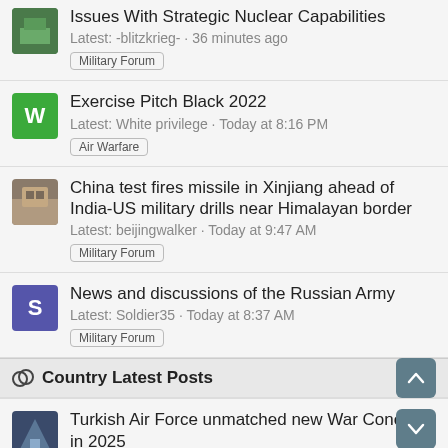Issues With Strategic Nuclear Capabilities
Latest: -blitzkrieg- · 36 minutes ago
Military Forum
Exercise Pitch Black 2022
Latest: White privilege · Today at 8:16 PM
Air Warfare
China test fires missile in Xinjiang ahead of India-US military drills near Himalayan border
Latest: beijingwalker · Today at 9:47 AM
Military Forum
News and discussions of the Russian Army
Latest: Soldier35 · Today at 8:37 AM
Military Forum
Country Latest Posts
Turkish Air Force unmatched new War Concept in 2025
Latest: Abid123 · A moment ago